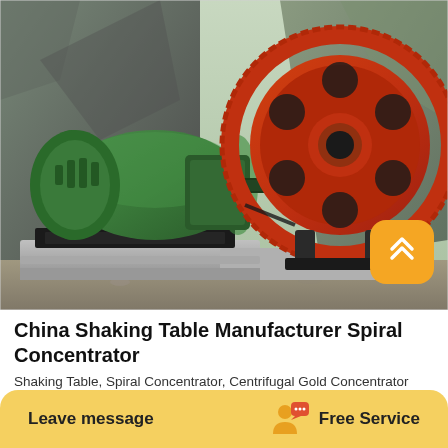[Figure (photo): Outdoor photo of industrial mining equipment: a green ball mill on the left and a large orange/red drum mill with a ring gear on the right, sitting on concrete bases in a rocky terrain.]
China Shaking Table Manufacturer Spiral Concentrator
Shaking Table, Spiral Concentrator, Centrifugal Gold Concentrator manufacturer supplier in China, offering Rock Coal Mining Transport...
Leave message   Free Service